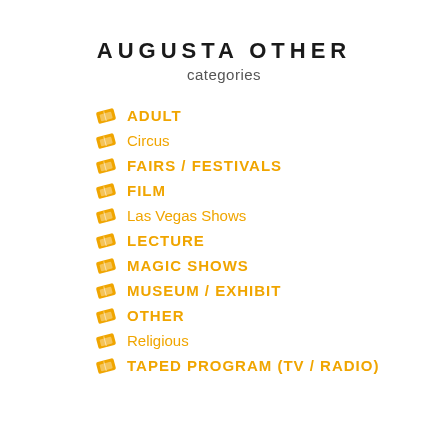AUGUSTA OTHER
categories
ADULT
Circus
FAIRS / FESTIVALS
FILM
Las Vegas Shows
LECTURE
MAGIC SHOWS
MUSEUM / EXHIBIT
OTHER
Religious
TAPED PROGRAM (TV / RADIO)